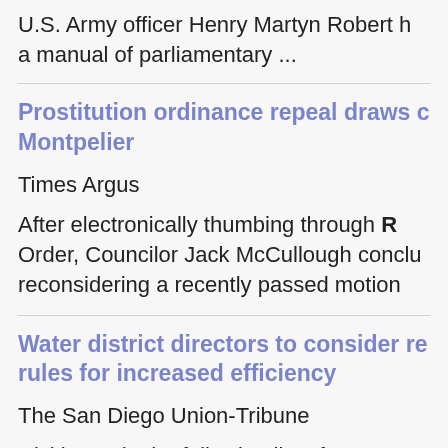U.S. Army officer Henry Martyn Robert ... a manual of parliamentary ...
Prostitution ordinance repeal draws c Montpelier
Times Argus
After electronically thumbing through R Order, Councilor Jack McCullough conclu reconsidering a recently passed motion
Water district directors to consider re rules for increased efficiency
The San Diego Union-Tribune
Hicklo made the following list of recom